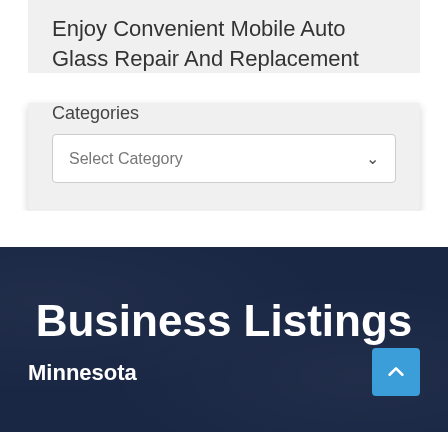Enjoy Convenient Mobile Auto Glass Repair And Replacement
Categories
Select Category
Business Listings
Minnesota